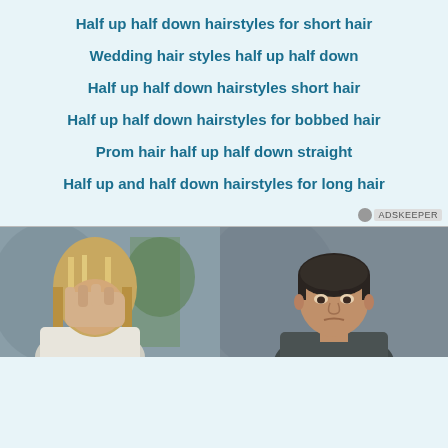Half up half down hairstyles for short hair
Wedding hair styles half up half down
Half up half down hairstyles short hair
Half up half down hairstyles for bobbed hair
Prom hair half up half down straight
Half up and half down hairstyles for long hair
[Figure (photo): Two photos side by side: left shows a woman with highlighted hair covering her face with her hand near a plant, right shows a man with dark hair looking serious]